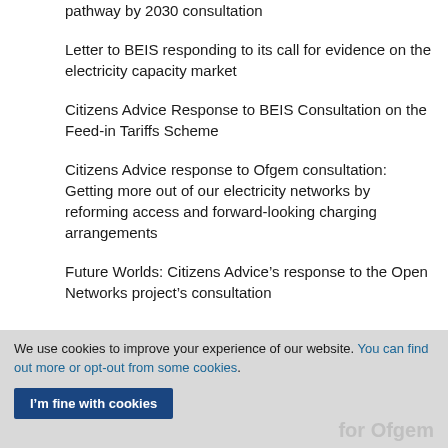pathway by 2030 consultation
Letter to BEIS responding to its call for evidence on the electricity capacity market
Citizens Advice Response to BEIS Consultation on the Feed-in Tariffs Scheme
Citizens Advice response to Ofgem consultation: Getting more out of our electricity networks by reforming access and forward-looking charging arrangements
Future Worlds: Citizens Advice’s response to the Open Networks project’s consultation
We use cookies to improve your experience of our website. You can find out more or opt-out from some cookies.
I’m fine with cookies